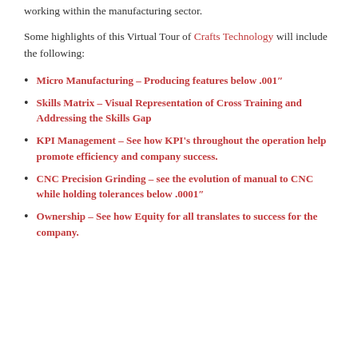working within the manufacturing sector.
Some highlights of this Virtual Tour of Crafts Technology will include the following:
Micro Manufacturing – Producing features below .001″
Skills Matrix – Visual Representation of Cross Training and Addressing the Skills Gap
KPI Management – See how KPI's throughout the operation help promote efficiency and company success.
CNC Precision Grinding – see the evolution of manual to CNC while holding tolerances below .0001″
Ownership – See how Equity for all translates to success for the company.